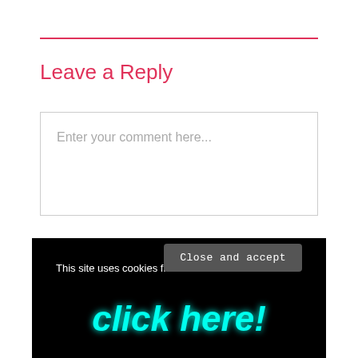Leave a Reply
Enter your comment here...
This site uses cookies from wordpress.com and selected partners. If that's ok with you, then click 'close and accept'. Mmmmm. Cookies
Close and accept
[Figure (illustration): Neon glowing text reading 'click here!' on black background]